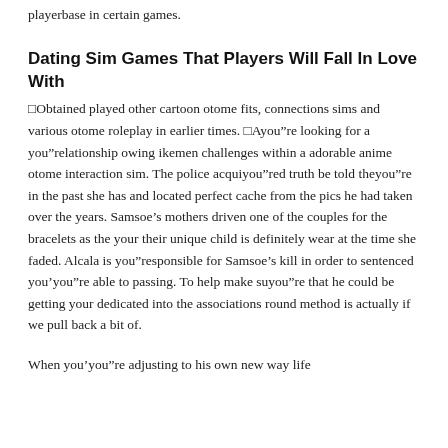playerbase in certain games.
Dating Sim Games That Players Will Fall In Love With
□Obtained played other cartoon otome fits, connections sims and various otome roleplay in earlier times. □Ayou”re looking for a you”relationship owing ikemen challenges within a adorable anime otome interaction sim. The police acquiyou”red truth be told theyou”re in the past she has and located perfect cache from the pics he had taken over the years. Samsoe’s mothers driven one of the couples for the bracelets as the your their unique child is definitely wear at the time she faded. Alcala is you”responsible for Samsoe’s kill in order to sentenced you’you”re able to passing. To help make suyou”re that he could be getting your dedicated into the associations round method is actually if we pull back a bit of.
When you’you”re adjusting to his own new way life